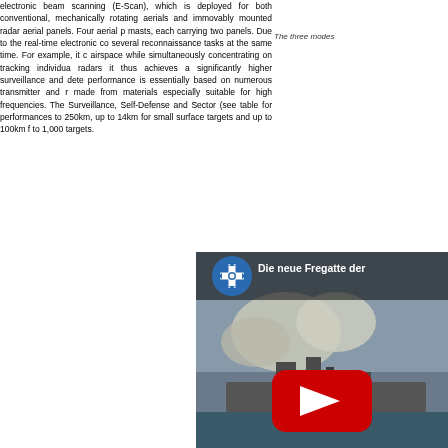electronic beam scanning (E-Scan), which is deployed for both conventional, mechanically rotating aerials and immovably mounted radar aerial panels. Four aerial p... masts, each carrying two panels. Due to the real-time electronic co... several reconnaissance tasks at the same time. For example, it c... airspace while simultaneously concentrating on tracking individua... radars it thus achieves a significantly higher surveillance and dete... performance is essentially based on numerous transmitter and r... made from materials especially suitable for high frequencies. The... Surveillance, Self-Defense and Sector (see table for performances... to 250km, up to 14km for small surface targets and up to 100km f... to 1,000 targets.
The three modes
[Figure (screenshot): YouTube video thumbnail showing a naval frigate firing weapons with smoke clouds, overlaid with a YouTube play button. Title reads 'Die neue Fregatte der' with a German military cross logo as the channel icon.]